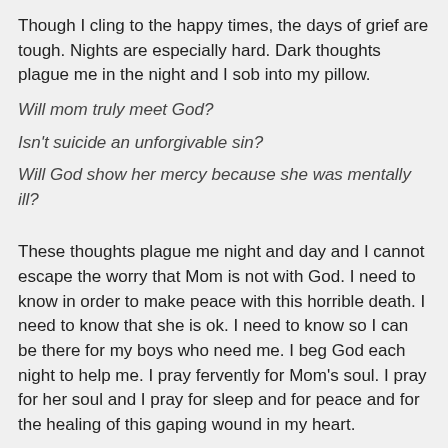Though I cling to the happy times, the days of grief are tough. Nights are especially hard. Dark thoughts plague me in the night and I sob into my pillow.
Will mom truly meet God?
Isn't suicide an unforgivable sin?
Will God show her mercy because she was mentally ill?
These thoughts plague me night and day and I cannot escape the worry that Mom is not with God. I need to know in order to make peace with this horrible death. I need to know that she is ok. I need to know so I can be there for my boys who need me. I beg God each night to help me. I pray fervently for Mom's soul. I pray for her soul and I pray for sleep and for peace and for the healing of this gaping wound in my heart.
God hears my prayers. And He answers them.